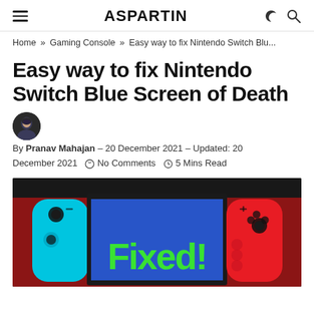ASPARTIN
Home » Gaming Console » Easy way to fix Nintendo Switch Blu...
Easy way to fix Nintendo Switch Blue Screen of Death
By Pranav Mahajan – 20 December 2021 – Updated: 20 December 2021   No Comments   5 Mins Read
[Figure (photo): Nintendo Switch console showing blue screen with green 'Fixed!' text, flanked by cyan left Joy-Con and red right Joy-Con, on a dark red/maroon surface.]